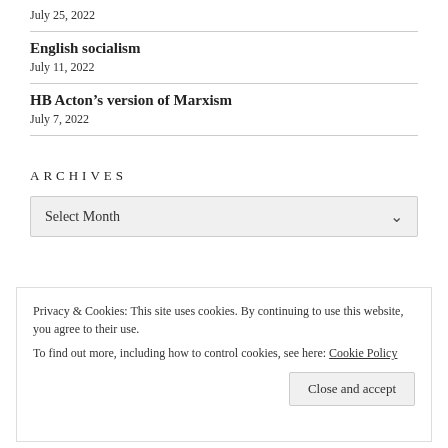July 25, 2022
English socialism
July 11, 2022
HB Acton’s version of Marxism
July 7, 2022
ARCHIVES
Select Month
Privacy & Cookies: This site uses cookies. By continuing to use this website, you agree to their use.
To find out more, including how to control cookies, see here: Cookie Policy
Close and accept